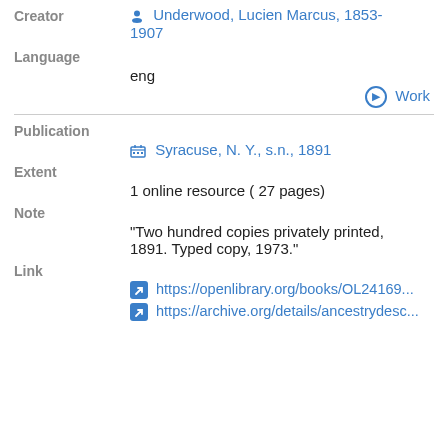Creator
Underwood, Lucien Marcus, 1853-1907
Language
eng
Work
Publication
Syracuse, N. Y., s.n., 1891
Extent
1 online resource ( 27 pages)
Note
"Two hundred copies privately printed, 1891. Typed copy, 1973."
Link
https://openlibrary.org/books/OL24169...
https://archive.org/details/ancestrydesc...